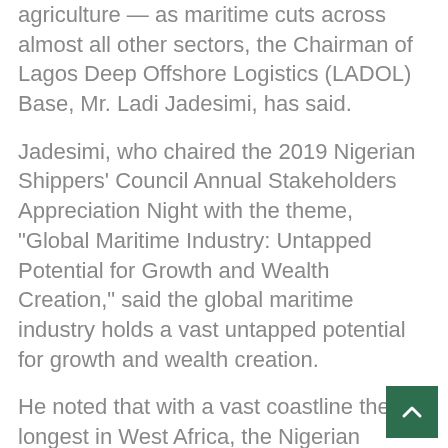agriculture — as maritime cuts across almost all other sectors, the Chairman of Lagos Deep Offshore Logistics (LADOL) Base, Mr. Ladi Jadesimi, has said.
Jadesimi, who chaired the 2019 Nigerian Shippers' Council Annual Stakeholders Appreciation Night with the theme, "Global Maritime Industry: Untapped Potential for Growth and Wealth Creation," said the global maritime industry holds a vast untapped potential for growth and wealth creation.
He noted that with a vast coastline the longest in West Africa, the Nigerian maritime sector could develop sustainable businesses that would dwarf the nation's revenues from export commodities if the huge opportunities are nurtured and tapped.
He insisted that the growing reduction in crude oil